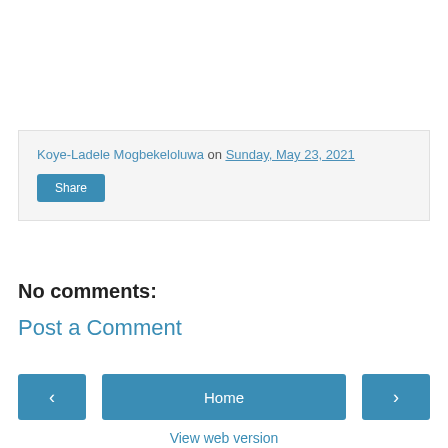Koye-Ladele Mogbekeloluwa on Sunday, May 23, 2021
Share
No comments:
Post a Comment
‹
Home
›
View web version
Powered by Blogger.